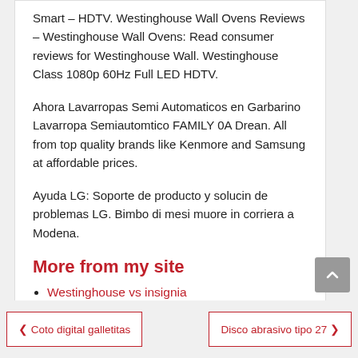Smart – HDTV. Westinghouse Wall Ovens Reviews – Westinghouse Wall Ovens: Read consumer reviews for Westinghouse Wall. Westinghouse Class 1080p 60Hz Full LED HDTV.
Ahora Lavarropas Semi Automaticos en Garbarino Lavarropa Semiautomtico FAMILY 0A Drean. All from top quality brands like Kenmore and Samsung at affordable prices.
Ayuda LG: Soporte de producto y solucin de problemas LG. Bimbo di mesi muore in corriera a Modena.
More from my site
Westinghouse vs insignia
Frigobar black and decker bcd33b
❮ Coto digital galletitas    Disco abrasivo tipo 27 ❯